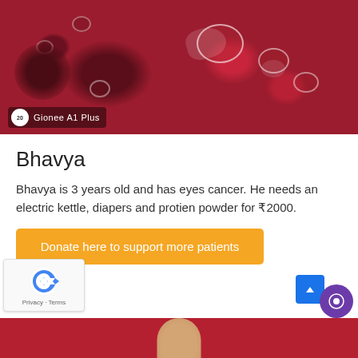[Figure (photo): Close-up photo of a medical/biological image showing red tissue with white spots, with a 'Gionee A1 Plus' watermark in the bottom left corner]
Bhavya
Bhavya is 3 years old and has eyes cancer. He needs an electric kettle, diapers and protien powder for ₹2000.
Donate here to support more patients